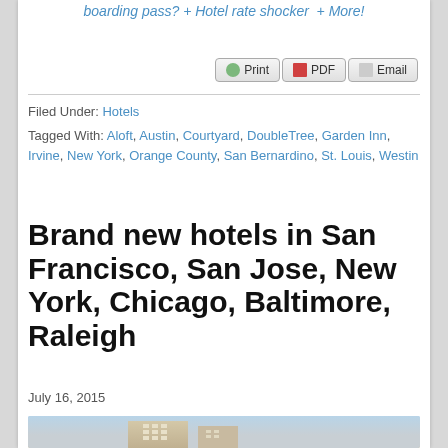boarding pass? + Hotel rate shocker + More!
Print | PDF | Email
Filed Under: Hotels
Tagged With: Aloft, Austin, Courtyard, DoubleTree, Garden Inn, Irvine, New York, Orange County, San Bernardino, St. Louis, Westin
Brand new hotels in San Francisco, San Jose, New York, Chicago, Baltimore, Raleigh
July 16, 2015
[Figure (photo): Photo of a hotel building exterior against a light blue sky]